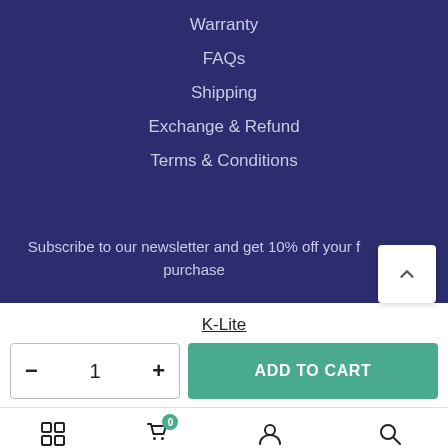Warranty
FAQs
Shipping
Exchange & Refund
Terms & Conditions
Subscribe to our newsletter and get 10% off your first purchase
K-Lite
ADD TO CART
Shop  Cart  Account  Search